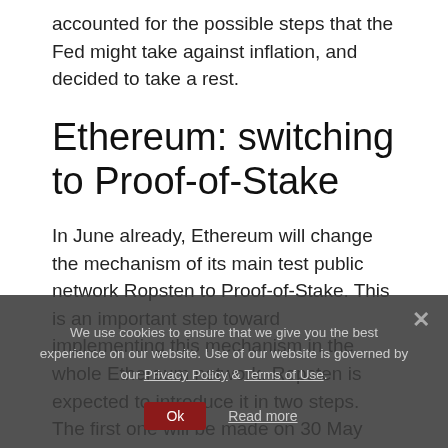accounted for the possible steps that the Fed might take against inflation, and decided to take a rest.
Ethereum: switching to Proof-of-Stake
In June already, Ethereum will change the mechanism of its main test public network Ropsten to Proof-of-Stake. This is an important step toward implementing this mechanism in the whole Ethereum network. Ropsten is expected to introduce it in two steps. The first one will be made on 30 May and the second one – on 8 June. This is good fundamental news for the ETH.
Ethereum chart online
We use cookies to ensure that we give you the best experience on our website. Use of our website is governed by our Privacy Policy & Terms of Use.